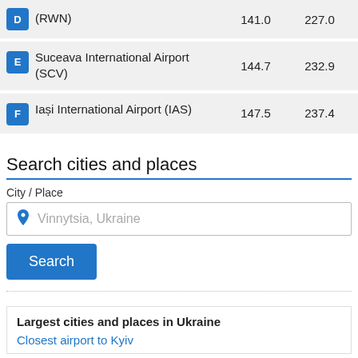| Airport | km | miles |
| --- | --- | --- |
| (RWN) | 141.0 | 227.0 |
| E Suceava International Airport (SCV) | 144.7 | 232.9 |
| F Iași International Airport (IAS) | 147.5 | 237.4 |
Search cities and places
City / Place
Vinnytsia, Ukraine
Search
Largest cities and places in Ukraine
Closest airport to Kyiv